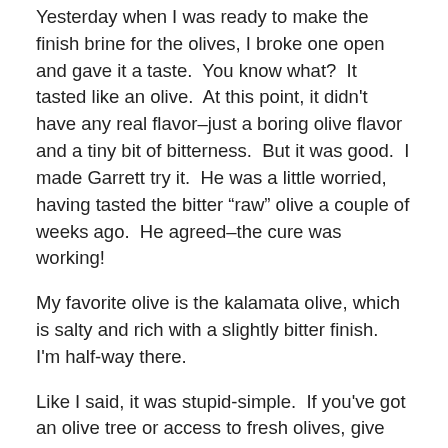Yesterday when I was ready to make the finish brine for the olives, I broke one open and gave it a taste.  You know what?  It tasted like an olive.  At this point, it didn't have any real flavor–just a boring olive flavor and a tiny bit of bitterness.  But it was good.  I made Garrett try it.  He was a little worried, having tasted the bitter “raw” olive a couple of weeks ago.  He agreed–the cure was working!
My favorite olive is the kalamata olive, which is salty and rich with a slightly bitter finish.  I'm half-way there.
Like I said, it was stupid-simple.  If you've got an olive tree or access to fresh olives, give home curing a try.  Basically, all you have to do is soak the prepared olives in water and change the water daily for a week or more, depending on the olive style and the desired level of bitterness.  After the curing, the olives are placed in a